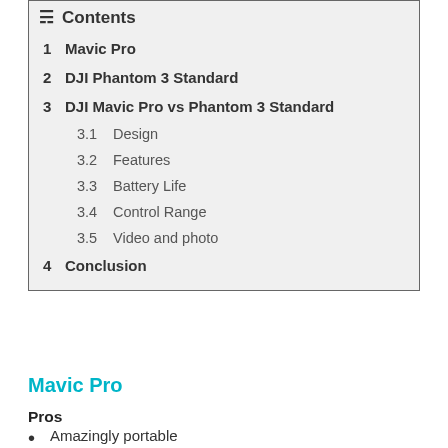Contents
1  Mavic Pro
2  DJI Phantom 3 Standard
3  DJI Mavic Pro vs Phantom 3 Standard
3.1  Design
3.2  Features
3.3  Battery Life
3.4  Control Range
3.5  Video and photo
4  Conclusion
Mavic Pro
Pros
Amazingly portable
Beautiful 4K footage and 12MP photographs
Decent flight time